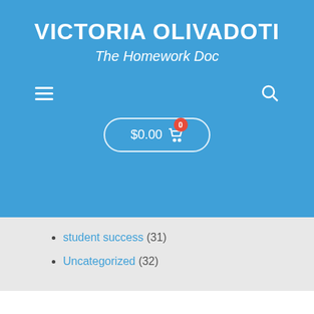VICTORIA OLIVADOTI
The Homework Doc
student success (31)
Uncategorized (32)
CONNECT